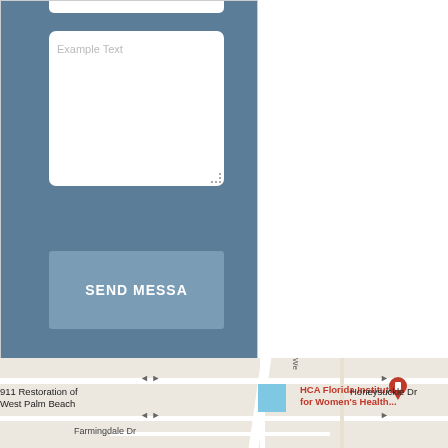[Figure (screenshot): Mobile app UI screenshot showing a dark blue/slate panel with a white textarea input containing placeholder text 'Example Text', and a 'SEND MESSA' (truncated 'SEND MESSAGE') button below it. The right half of the page is white. Bottom strip shows a Google Maps view with labels including '911 Restoration of West Palm Beach', 'HCA Florida Institute for Women's Health...', 'Honeysuckle Dr', 'Farmingdale Dr'.]